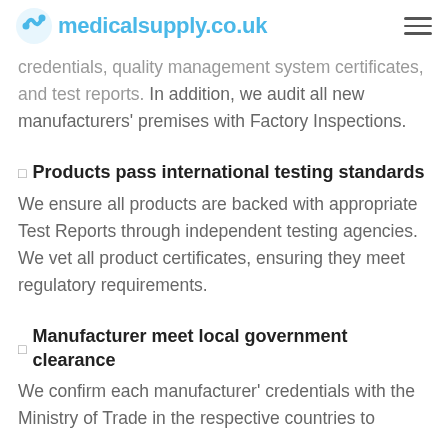medicalsupply.co.uk
credentials, quality management system certificates, and test reports. In addition, we audit all new manufacturers' premises with Factory Inspections.
Products pass international testing standards
We ensure all products are backed with appropriate Test Reports through independent testing agencies. We vet all product certificates, ensuring they meet regulatory requirements.
Manufacturer meet local government clearance
We confirm each manufacturer' credentials with the Ministry of Trade in the respective countries to